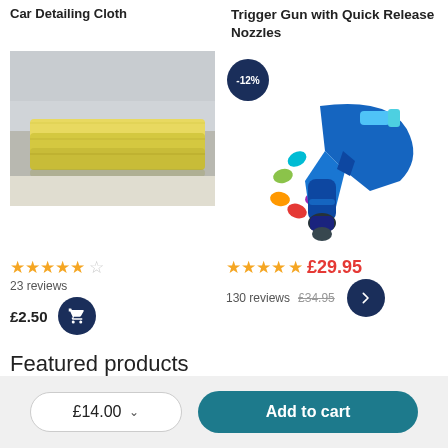Car Detailing Cloth
[Figure (photo): Yellow microfiber car detailing cloth folded in a stack on a white surface]
★★★★½ 23 reviews £2.50
Trigger Gun with Quick Release Nozzles
[Figure (photo): Blue pressure washer trigger gun with colorful quick release nozzles, -12% discount badge]
★★★★½ 130 reviews £29.95 £34.95
Featured products
£14.00  Add to cart